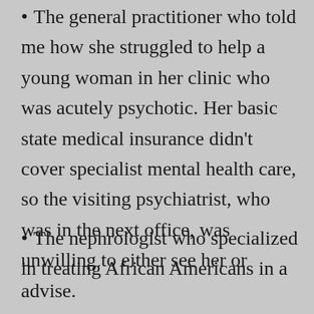The general practitioner who told me how she struggled to help a young woman in her clinic who was acutely psychotic. Her basic state medical insurance didn't cover specialist mental health care, so the visiting psychiatrist, who was in the next office, was unwilling to either see her or advise.
The nephrologist who specialized in treating African Americans in a southern state with a high prevalence...